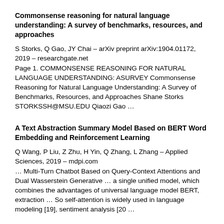Commonsense reasoning for natural language understanding: A survey of benchmarks, resources, and approaches
S Storks, Q Gao, JY Chai – arXiv preprint arXiv:1904.01172, 2019 – researchgate.net
Page 1. COMMONSENSE REASONING FOR NATURAL LANGUAGE UNDERSTANDING: ASURVEY Commonsense Reasoning for Natural Language Understanding: A Survey of Benchmarks, Resources, and Approaches Shane Storks STORKSSH@MSU.EDU Qiaozi Gao …
A Text Abstraction Summary Model Based on BERT Word Embedding and Reinforcement Learning
Q Wang, P Liu, Z Zhu, H Yin, Q Zhang, L Zhang – Applied Sciences, 2019 – mdpi.com
… Multi-Turn Chatbot Based on Query-Context Attentions and Dual Wasserstein Generative … a single unified model, which combines the advantages of universal language model BERT, extraction … So self-attention is widely used in language modeling [19], sentiment analysis [20 …
Dialogue Systems and Conversational Agents for Patients with Dementia: The Human–Robot Interaction